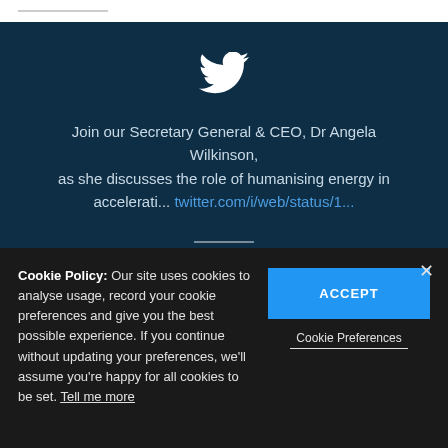[Figure (screenshot): Twitter/X bird icon in white on dark navy background]
Join our Secretary General & CEO, Dr Angela Wilkinson, as she discusses the role of humanising energy in accelerati... twitter.com/i/web/status/1...
[Figure (logo): World Energy Council globe logo with text WORLD ENERGY COUNCIL]
Cookie Policy: Our site uses cookies to analyse usage, record your cookie preferences and give you the best possible experience. If you continue without updating your preferences, we'll assume you're happy for all cookies to be set. Tell me more
ACCEPT
Cookie Preferences